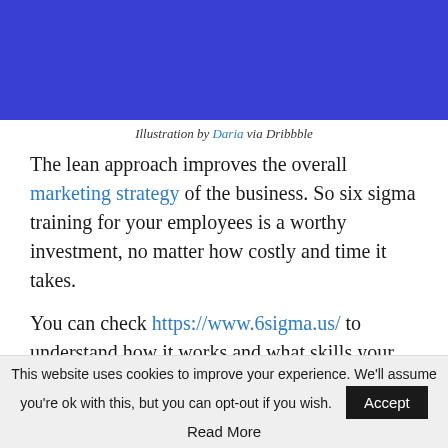[Figure (illustration): Blue background illustration partial view at top of page]
Illustration by Daria via Dribbble
The lean approach improves the overall marketing strategy of the business. So six sigma training for your employees is a worthy investment, no matter how costly and time it takes.
You can check https://www.6sigma.us/ to understand how it works and what skills your employees imbibe with the training. They become better decision-makers as they dive deeper to understand the impact of campaigns even before implementing them on a large
This website uses cookies to improve your experience. We'll assume you're ok with this, but you can opt-out if you wish. Accept Read More